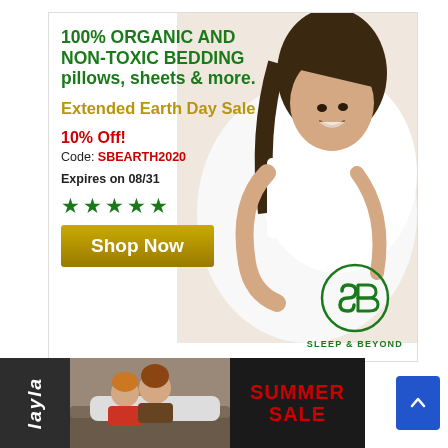[Figure (infographic): Sleep & Beyond advertisement. Top section: white background with green headline '100% ORGANIC AND NON-TOXIC BEDDING pillows, sheets & more.' followed by golden text 'Extended Earth Day Sale', red text '10% Off!', promo code 'SBEARTH2020', expiry 'Expires on 08/31', five green stars, gold 'Shop Now' button, and Sleep & Beyond logo. Right side shows a woman smiling and hugging a white pillow.]
[Figure (infographic): Layla brand advertisement strip at the bottom. Dark background with rotated 'layla' brand name on the left sidebar, couple on a bed in the center, and 'SUMMER SALE' text in red on the right.]